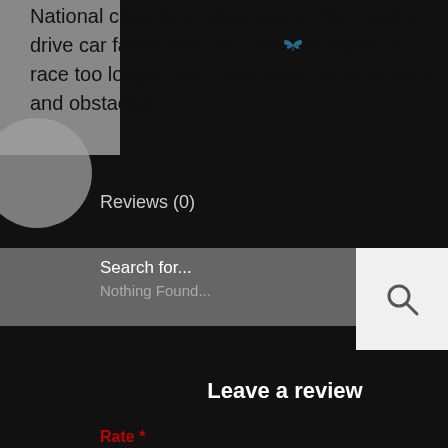National class is a racing game. You need to drive car faster then you can and make your race too longer. You must miss the other cars and obstacles.
Reviews (0)
Search for...
Nothing Found...
Leave a review
Rate *